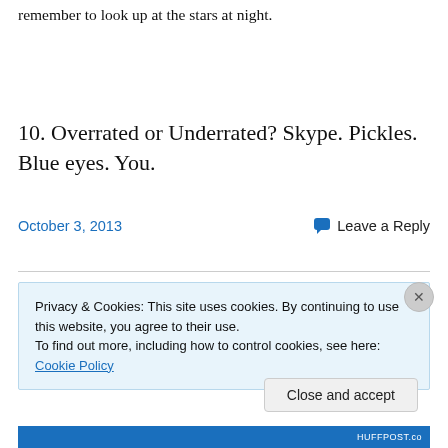remember to look up at the stars at night.
10. Overrated or Underrated? Skype. Pickles. Blue eyes. You.
October 3, 2013    Leave a Reply
Privacy & Cookies: This site uses cookies. By continuing to use this website, you agree to their use.
To find out more, including how to control cookies, see here: Cookie Policy
Close and accept